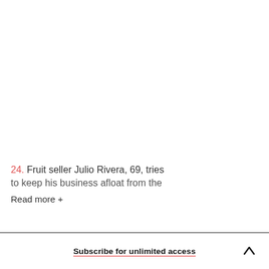24. Fruit seller Julio Rivera, 69, tries to keep his business afloat from the
Read more +
Subscribe for unlimited access